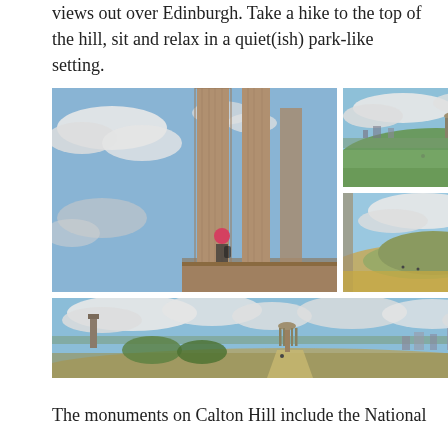views out over Edinburgh. Take a hike to the top of the hill, sit and relax in a quiet(ish) park-like setting.
[Figure (photo): Collage of five photos of Calton Hill, Edinburgh: a large photo of a person beside tall stone columns of a monument against a blue sky with clouds; top-right photo of panoramic view over Edinburgh with the Dugald Stewart Monument; bottom-right photo of stone columns framing a grassy hill with Arthur's Seat; wide bottom panoramic photo showing the Dugald Stewart Monument and Edinburgh cityscape.]
The monuments on Calton Hill include the National